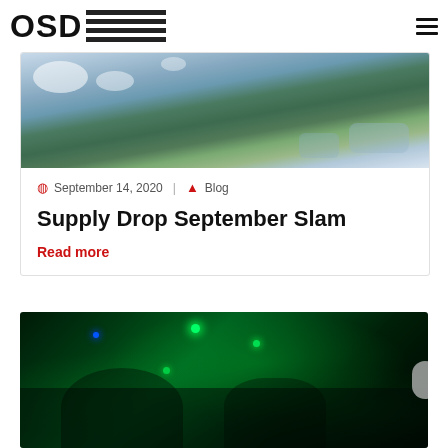OSD (logo with horizontal lines) | hamburger menu
[Figure (photo): Aerial photograph showing farmland, fields, and clouds from above]
September 14, 2020  |  Blog
Supply Drop September Slam
Read more
[Figure (photo): Green-tinted night vision photo of soldiers/paratroopers inside an aircraft with glowing green lights]